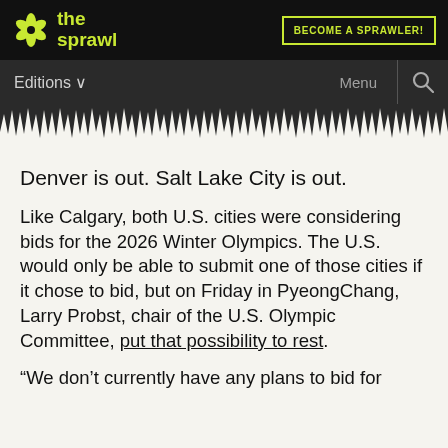the sprawl | BECOME A SPRAWLER!
Editions ∨   Menu 🔍
Denver is out. Salt Lake City is out.
Like Calgary, both U.S. cities were considering bids for the 2026 Winter Olympics. The U.S. would only be able to submit one of those cities if it chose to bid, but on Friday in PyeongChang, Larry Probst, chair of the U.S. Olympic Committee, put that possibility to rest.
“We don’t currently have any plans to bid for